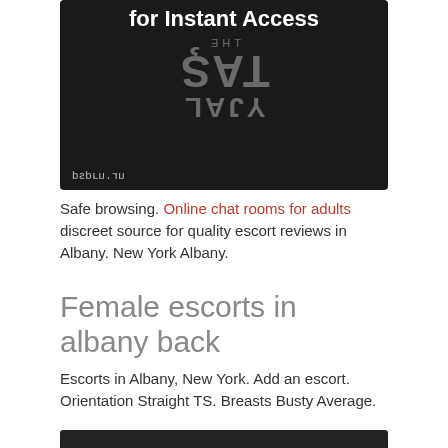[Figure (photo): Dark background image with mirrored/flipped text reading 'THE CAT LADY' and a URL 'psp-guru.ru' at the bottom left. Also shows 'for Instant Access' text at top in white.]
Safe browsing. Online chat rooms for adults discreet source for quality escort reviews in Albany. New York Albany.
Female escorts in albany back
Escorts in Albany, New York. Add an escort. Orientation Straight TS. Breasts Busty Average.
[Figure (photo): Dark image, partially visible at bottom of page.]